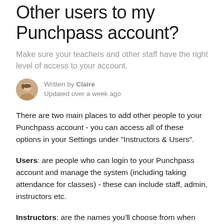Other users to my Punchpass account?
Make sure your teachers and other staff have the right level of access to your account.
Written by Claire
Updated over a week ago
There are two main places to add other people to your Punchpass account - you can access all of these options in your Settings under "Instructors & Users".
Users: are people who can login to your Punchpass account and manage the system (including taking attendance for classes) - these can include staff, admin, instructors etc.
Instructors: are the names you'll choose from when you're telling your customers who's teaching a class.